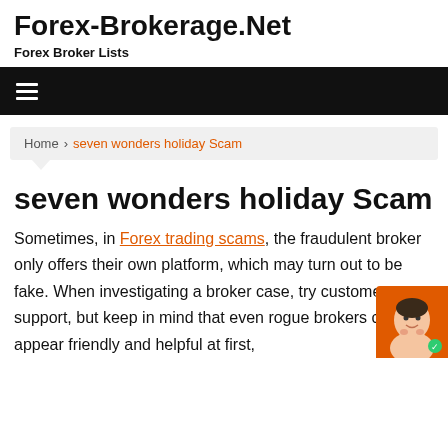Forex-Brokerage.Net
Forex Broker Lists
Navigation menu
Home > seven wonders holiday Scam
seven wonders holiday Scam
Sometimes, in Forex trading scams, the fraudulent broker only offers their own platform, which may turn out to be fake. When investigating a broker case, try customer support, but keep in mind that even rogue brokers can appear friendly and helpful at first,